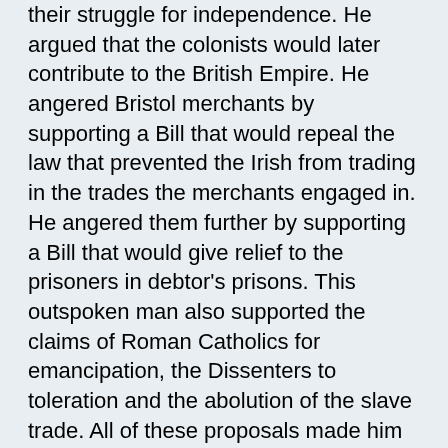their struggle for independence. He argued that the colonists would later contribute to the British Empire. He angered Bristol merchants by supporting a Bill that would repeal the law that prevented the Irish from trading in the trades the merchants engaged in. He angered them further by supporting a Bill that would give relief to the prisoners in debtor's prisons. This outspoken man also supported the claims of Roman Catholics for emancipation, the Dissenters to toleration and the abolition of the slave trade. All of these proposals made him many enemies, and he was told to bend to the will of his constituents. He replied that to do so would reduce him to the status of a mere machine and that he presumed he was elected to represent the city because of his ability to make correct judgements, and that he must retain his right to vote according to his own conscience and intelligence. He withdrew his candadature and Bristol lost what was later described as the "greatest political thinker that has ever devoted himself to the practice of English politics". In 1894 a monument to Burke was erected in Colston Avenue.
Joseph Cottle and the poets
In 1791 Cottle opened a bookshop in the High Street. In